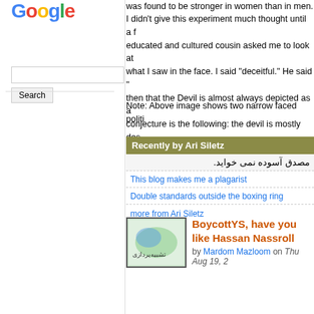[Figure (logo): Google logo in multicolor letters]
[Figure (screenshot): Google search box and Search button]
was found to be stronger in women than in men.
I didn't give this experiment much thought until a f... educated and cultured cousin asked me to look at what I saw in the face. I said "deceitful." He said "... then that the Devil is almost always depicted as a... conjecture is the following: the devil is mostly des... never as "untrustworthy." Deceit means betraying... you  trust him at first, are seduced by him, and he...
Note: Above image shows two narrow faced politi...
Recently by Ari Siletz
مصدق آسوده نمی خواید.
This blog makes me a plagarist
Double standards outside the boxing ring
more from Ari Siletz
[Figure (illustration): Article thumbnail with green and blue calligraphic art]
BoycottYS, have you... like Hassan Nassroll...
by Mardom Mazloom on Thu Aug 19, 2...